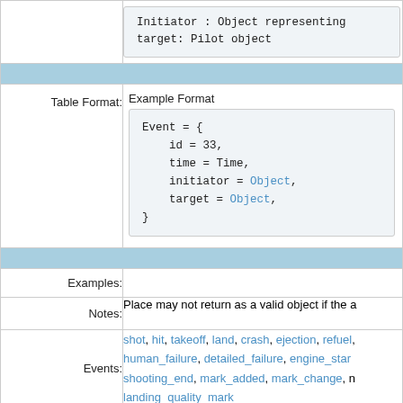| Field | Value |
| --- | --- |
|  | Initiator : Object representing
target: Pilot object |
| [section header] |  |
| Table Format: | Example Format
Event = {
  id = 33,
  time = Time,
  initiator = Object,
  target = Object,
} |
| [section header] |  |
| Examples: |  |
| Notes: | Place may not return as a valid object if the a |
| Events: | shot, hit, takeoff, land, crash, ejection, refuel, human_failure, detailed_failure, engine_start, shooting_end, mark_added, mark_change, n, landing_quality_mark |